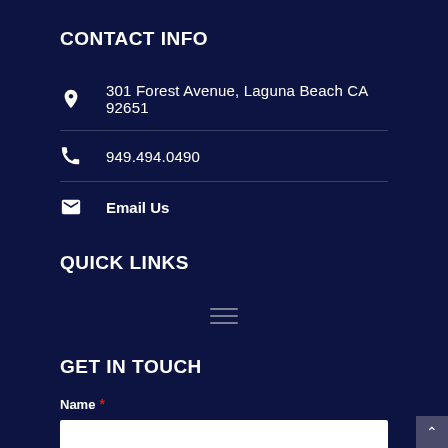CONTACT INFO
301 Forest Avenue, Laguna Beach CA 92651
949.494.0490
Email Us
QUICK LINKS
[Figure (other): Hamburger menu icon (three horizontal lines)]
GET IN TOUCH
Name *
First